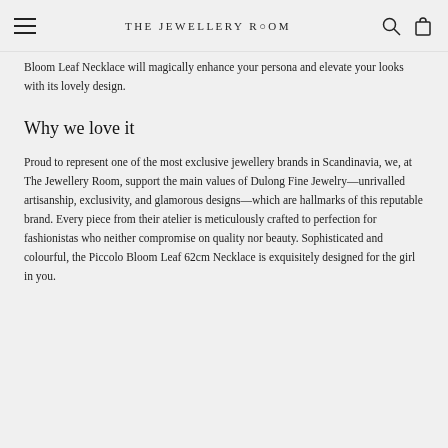THE JEWELLERY ROOM
Bloom Leaf Necklace will magically enhance your persona and elevate your looks with its lovely design.
Why we love it
Proud to represent one of the most exclusive jewellery brands in Scandinavia, we, at The Jewellery Room, support the main values of Dulong Fine Jewelry—unrivalled artisanship, exclusivity, and glamorous designs—which are hallmarks of this reputable brand. Every piece from their atelier is meticulously crafted to perfection for fashionistas who neither compromise on quality nor beauty. Sophisticated and colourful, the Piccolo Bloom Leaf 62cm Necklace is exquisitely designed for the girl in you.